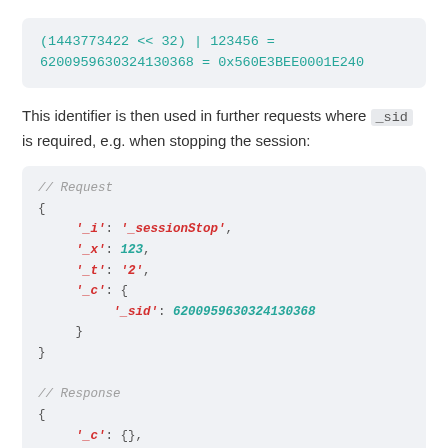This identifier is then used in further requests where _sid is required, e.g. when stopping the session:
// Request
{
    '_i': '_sessionStop',
    '_x': 123,
    '_t': '2',
    '_c': {
        '_sid': 6200959630324130368
    }
}
// Response
{
    '_c': {},